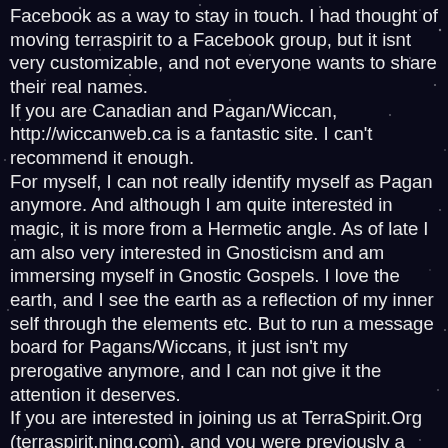Facebook as a way to stay in touch. I had thought of moving terraspirit to a Facebook group, but it isnt very customizable, and not everyone wants to share their real names. If you are Canadian and Pagan/Wiccan, http://wiccanweb.ca is a fantastic site. I can't recommend it enough. For myself, I can not really identify myself as Pagan anymore. And although I am quite interested in magic, it is more from a Hermetic angle. As of late I am also very interested in Gnosticism and am immersing myself in Gnostic Gospels. I love the earth, and I see the earth as a reflection of my inner self through the elements etc. But to run a message board for Pagans/Wiccans, it just isn't my prerogative anymore, and I can not give it the attention it deserves. If you are interested in joining us at TerraSpirit.Org (terraspirit.ning.com), and you were previously a member of terraspirit.ca, then feel free to check it out. It is non-denominational, and is primarily a site for The Society for the Celebration of Earth and Spirit , and our friends. Pagan, Christian, Jewish, etc... anyone is welcome, as long as they are open to the fact that there is more than just their path. There is more than just their views. If one is a literalist when